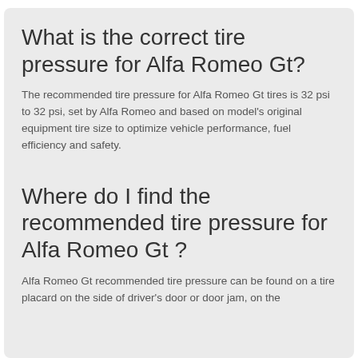What is the correct tire pressure for Alfa Romeo Gt?
The recommended tire pressure for Alfa Romeo Gt tires is 32 psi to 32 psi, set by Alfa Romeo and based on model's original equipment tire size to optimize vehicle performance, fuel efficiency and safety.
Where do I find the recommended tire pressure for Alfa Romeo Gt ?
Alfa Romeo Gt recommended tire pressure can be found on a tire placard on the side of driver's door or door jam, on the